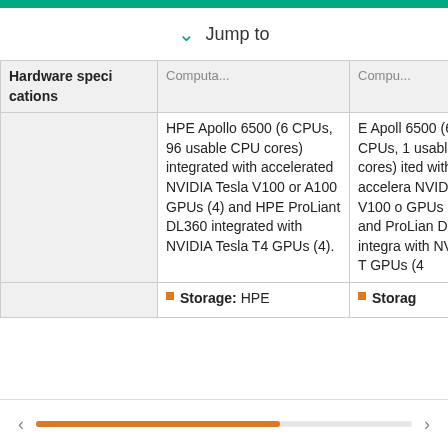Jump to
| Hardware specifications | Computa... | Comp... |
| --- | --- | --- |
|  | HPE Apollo 6500 (6 CPUs, 96 usable CPU cores) integrated with accelerated NVIDIA Tesla V100 or A100 GPUs (4) and HPE ProLiant DL360 integrated with NVIDIA Tesla T4 GPUs (4). | E Apollo 6500 (6 CPUs, 1 usable cores) integrated with accelerated NVIDIA V100 or GPUs (8) and ProLiant DL360 integrated with NVIDIA Tesla T4 GPUs (4 |
|  | Storage: HPE | Storag |